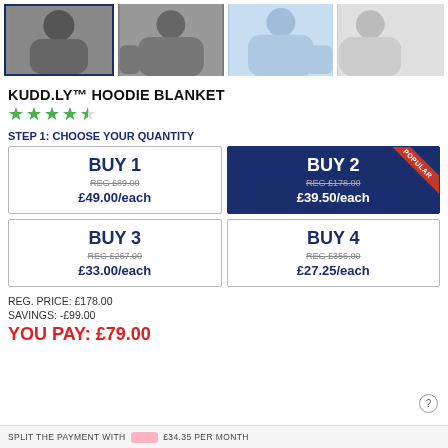[Figure (photo): Three hoodie blanket product thumbnails - dark grey (selected), dark grey second view, light blue]
KUDD.LY™ HOODIE BLANKET
[Figure (other): Star rating: 4.5 stars in green]
STEP 1: CHOOSE YOUR QUANTITY
| BUY 1 | BUY 2 (POPULAR) |
| REG £89.00 | REG £178.00 |
| £49.00/each | £39.50/each |
| BUY 3 | BUY 4 |
| REG £267.00 | REG £356.00 |
| £33.00/each | £27.25/each |
REG. PRICE: £178.00
SAVINGS: -£99.00
YOU PAY: £79.00
SPLIT THE PAYMENT WITH   £34.35 PER MONTH